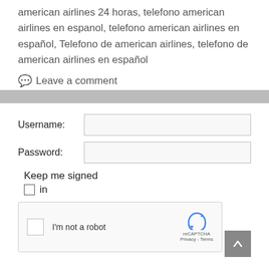american airlines 24 horas, telefono american airlines en espanol, telefono american airlines en español, Telefono de american airlines, telefono de american airlines en español
💬 Leave a comment
Username:
Password:
Keep me signed in
[Figure (screenshot): reCAPTCHA widget with checkbox and 'I'm not a robot' label, reCAPTCHA branding logo on right]
[Figure (other): Scroll-to-top button (grey square with upward chevron)]